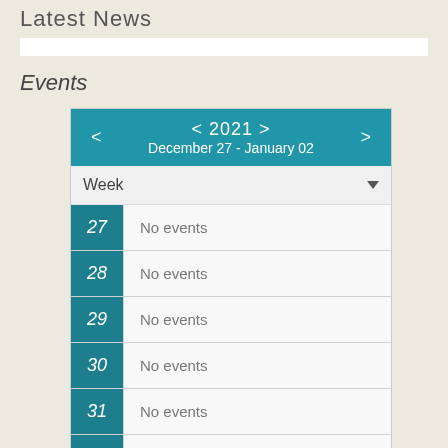Latest News
Events
[Figure (other): Weekly calendar widget showing week of December 27 - January 02, 2021 with navigation arrows, Week view selector dropdown, and calendar rows for days 27, 28, 29, 30, 31, 01 all showing 'No events']